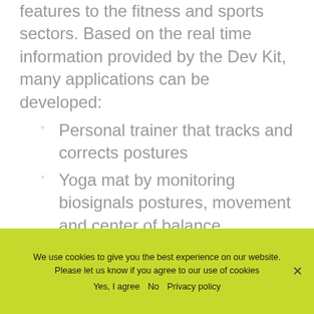features to the fitness and sports sectors. Based on the real time information provided by the Dev Kit, many applications can be developed:
Personal trainer that tracks and corrects postures
Yoga mat by monitoring biosignals postures, movement and center of balance
We use cookies to give you the best experience on our website. Please let us know if you agree to our use of cookies
Yes, I agree   No   Privacy policy